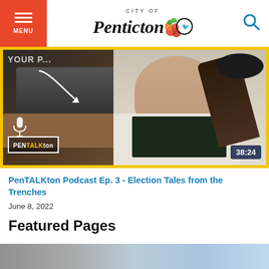MENU | City of Penticton
[Figure (screenshot): Video thumbnail for PenTALKton Podcast with a woman smiling at a microphone in a council chamber. Duration badge shows 38:24. PenTALKton logo in bottom left.]
PenTALKton Podcast Ep. 3 - Election Tales from the Trenches
June 8, 2022
Featured Pages
[Figure (photo): Partial photo showing sky with clouds.]